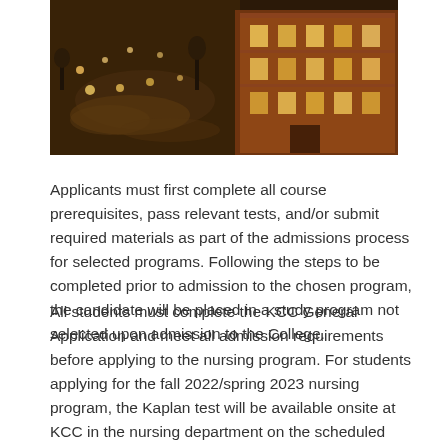[Figure (photo): Aerial night view of a city plaza and a historic brick building lit with warm lights]
Applicants must first complete all course prerequisites, pass relevant tests, and/or submit required materials as part of the admissions process for selected programs. Following the steps to be completed prior to admission to the chosen program, the candidate will be placed in a study program not selected upon admission to the College.
All students must complete the KCC General Application and meet all admission requirements before applying to the nursing program. For students applying for the fall 2022/spring 2023 nursing program, the Kaplan test will be available onsite at KCC in the nursing department on the scheduled dates. Courses BSC2085/L and BSC2086/L must be completed within the last 10 years. The combined GPA,